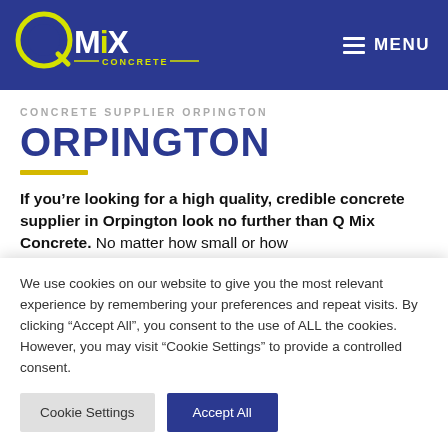[Figure (logo): Q Mix Concrete logo — white Q with yellow circle swoosh, bold white MiX text, yellow CONCRETE text below with horizontal lines, all on dark navy background]
MENU
CONCRETE SUPPLIER ORPINGTON
ORPINGTON
If you're looking for a high quality, credible concrete supplier in Orpington look no further than Q Mix Concrete. No matter how small or how
We use cookies on our website to give you the most relevant experience by remembering your preferences and repeat visits. By clicking "Accept All", you consent to the use of ALL the cookies. However, you may visit "Cookie Settings" to provide a controlled consent.